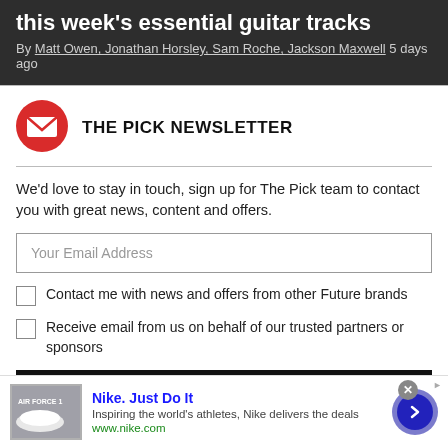this week's essential guitar tracks
By Matt Owen, Jonathan Horsley, Sam Roche, Jackson Maxwell 5 days ago
THE PICK NEWSLETTER
We'd love to stay in touch, sign up for The Pick team to contact you with great news, content and offers.
Your Email Address
Contact me with news and offers from other Future brands
Receive email from us on behalf of our trusted partners or sponsors
[Figure (infographic): Nike advertisement banner with shoe image, Nike. Just Do It headline, tagline and www.nike.com URL, with a blue circular arrow button]